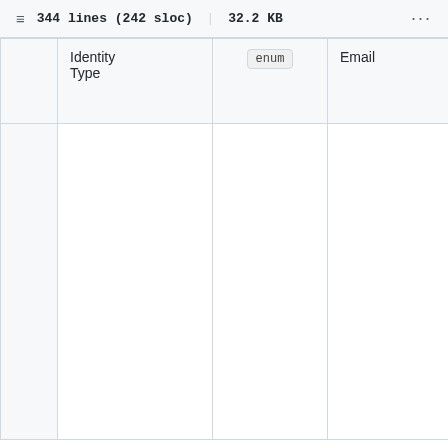344 lines (242 sloc) | 32.2 KB
|  | Identity Type | enum | Email | Type to forward the Email Braze. |
| --- | --- | --- | --- | --- |
|  | Identity Type | enum | Email | Type to forward the Em Braze. |
|  |  |  |  | Specif which cluster Braze will be forward to. Ple ensure are contra author to use |